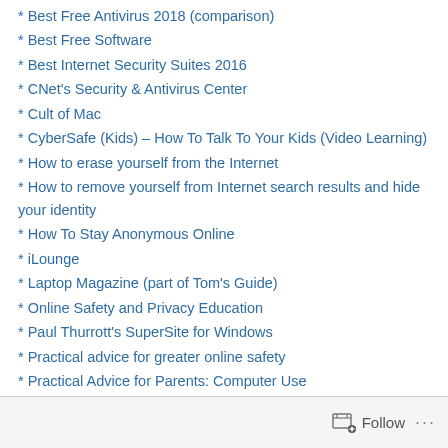* Best Free Antivirus 2018 (comparison)
* Best Free Software
* Best Internet Security Suites 2016
* CNet's Security & Antivirus Center
* Cult of Mac
* CyberSafe (Kids) – How To Talk To Your Kids (Video Learning)
* How to erase yourself from the Internet
* How to remove yourself from Internet search results and hide your identity
* How To Stay Anonymous Online
* iLounge
* Laptop Magazine (part of Tom's Guide)
* Online Safety and Privacy Education
* Paul Thurrott's SuperSite for Windows
* Practical advice for greater online safety
* Practical Advice for Parents: Computer Use
* Pulp Tech
* startpage (the world's most private search engine)
Follow ...